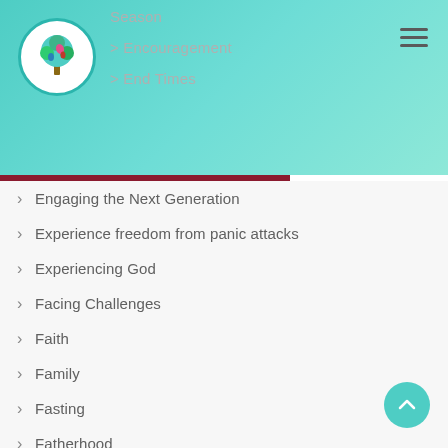[Figure (logo): Circular logo with a colorful tree and footprints on white background with teal border]
Season
Encouragement
End Times
Engaging the Next Generation
Experience freedom from panic attacks
Experiencing God
Facing Challenges
Faith
Family
Fasting
Fatherhood
Fear
fear of failure
Fiction
Finances